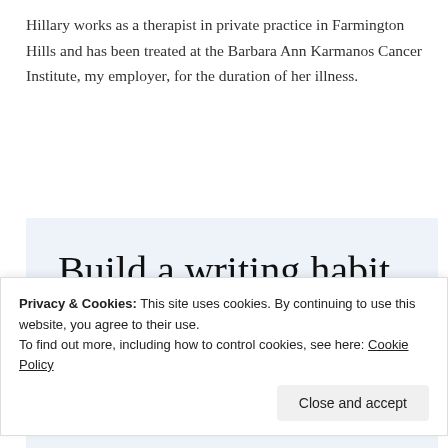Hillary works as a therapist in private practice in Farmington Hills and has been treated at the Barbara Ann Karmanos Cancer Institute, my employer, for the duration of her illness.
[Figure (infographic): Advertisement for WordPress app with text 'Build a writing habit. Post on the go.' and a 'GET THE APP' call to action with WordPress logo icon on a light blue background.]
Privacy & Cookies: This site uses cookies. By continuing to use this website, you agree to their use. To find out more, including how to control cookies, see here: Cookie Policy
Close and accept